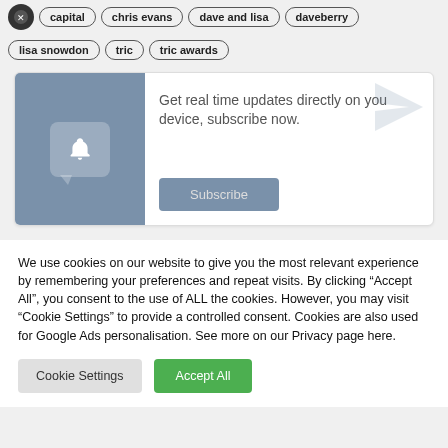capital chris evans dave and lisa daveberry
lisa snowdon tric tric awards
[Figure (infographic): Subscribe notification card with bell icon and speech bubble on blue-grey background. Text: Get real time updates directly on you device, subscribe now. Subscribe button.]
We use cookies on our website to give you the most relevant experience by remembering your preferences and repeat visits. By clicking “Accept All”, you consent to the use of ALL the cookies. However, you may visit “Cookie Settings” to provide a controlled consent. Cookies are also used for Google Ads personalisation. See more on our Privacy page here.
Cookie Settings | Accept All